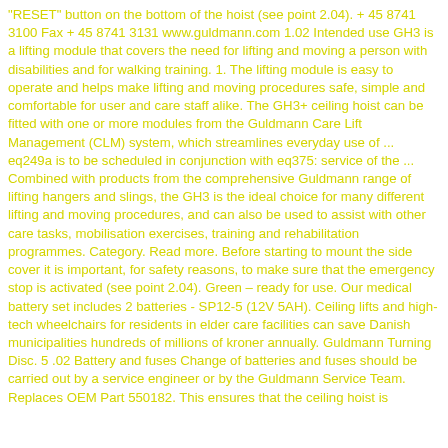"RESET" button on the bottom of the hoist (see point 2.04). + 45 8741 3100 Fax + 45 8741 3131 www.guldmann.com 1.02 Intended use GH3 is a lifting module that covers the need for lifting and moving a person with disabilities and for walking training. 1. The lifting module is easy to operate and helps make lifting and moving procedures safe, simple and comfortable for user and care staff alike. The GH3+ ceiling hoist can be fitted with one or more modules from the Guldmann Care Lift Management (CLM) system, which streamlines everyday use of ... eq249a is to be scheduled in conjunction with eq375: service of the ... Combined with products from the comprehensive Guldmann range of lifting hangers and slings, the GH3 is the ideal choice for many different lifting and moving procedures, and can also be used to assist with other care tasks, mobilisation exercises, training and rehabilitation programmes. Category. Read more. Before starting to mount the side cover it is important, for safety reasons, to make sure that the emergency stop is activated (see point 2.04). Green – ready for use. Our medical battery set includes 2 batteries - SP12-5 (12V 5AH). Ceiling lifts and high-tech wheelchairs for residents in elder care facilities can save Danish municipalities hundreds of millions of kroner annually. Guldmann Turning Disc. 5 .02 Battery and fuses Change of batteries and fuses should be carried out by a service engineer or by the Guldmann Service Team. Replaces OEM Part 550182. This ensures that the ceiling hoist is